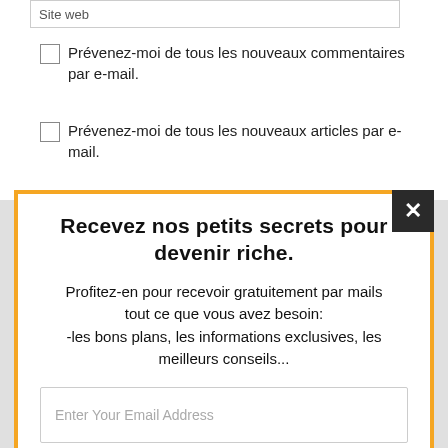Site web
Prévenez-moi de tous les nouveaux commentaires par e-mail.
Prévenez-moi de tous les nouveaux articles par e-mail.
Recevez nos petits secrets pour devenir riche.
Profitez-en pour recevoir gratuitement par mails tout ce que vous avez besoin: -les bons plans, les informations exclusives, les meilleurs conseils...
Enter Your Email Address
J'en profite